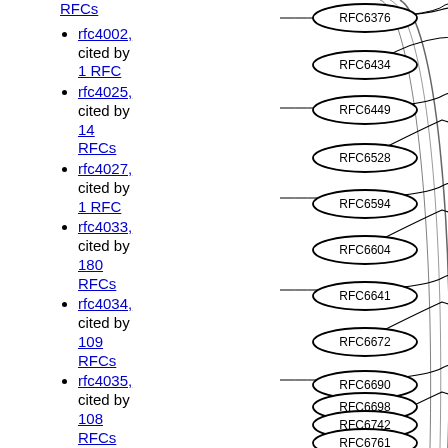RFCs
rfc4002, cited by 1 RFC
rfc4025, cited by 14 RFCs
rfc4027, cited by 1 RFC
rfc4033, cited by 180 RFCs
rfc4034, cited by 109 RFCs
rfc4035, cited by 108 RFCs
rfc4074, cited by 4 RFCs
rfc4078, cited by
[Figure (network-graph): Network graph showing RFC nodes (RFC6376, RFC6434, RFC6449, RFC6528, RFC6594, RFC6604, RFC6641, RFC6672, RFC6690, RFC6698, RFC6742, RFC6761) as ellipses arranged vertically with curved lines connecting them, representing citation relationships.]